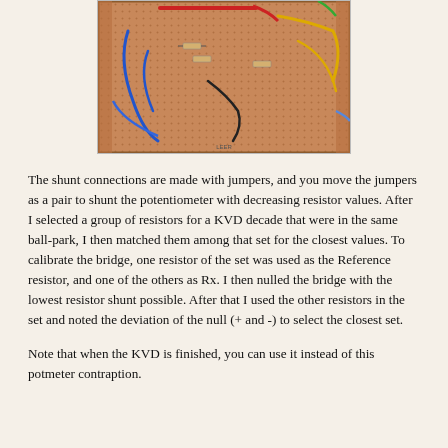[Figure (photo): Photograph of a breadboard with electronic components including jumpers, resistors, and colored wires (blue, red, yellow, black) mounted on a copper-colored perforated prototyping board.]
The shunt connections are made with jumpers, and you move the jumpers as a pair to shunt the potentiometer with decreasing resistor values. After I selected a group of resistors for a KVD decade that were in the same ball-park, I then matched them among that set for the closest values. To calibrate the bridge, one resistor of the set was used as the Reference resistor, and one of the others as Rx. I then nulled the bridge with the lowest resistor shunt possible. After that I used the other resistors in the set and noted the deviation of the null (+ and -) to select the closest set.
Note that when the KVD is finished, you can use it instead of this potmeter contraption.